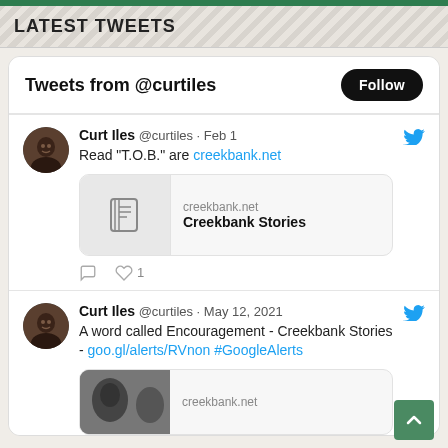LATEST TWEETS
Tweets from @curtiles
Curt Iles @curtiles · Feb 1
Read "T.O.B." are creekbank.net
[Figure (screenshot): Link preview card for creekbank.net showing Creekbank Stories with a document icon]
Curt Iles @curtiles · May 12, 2021
A word called Encouragement - Creekbank Stories - goo.gl/alerts/RVnon #GoogleAlerts
creekbank.net